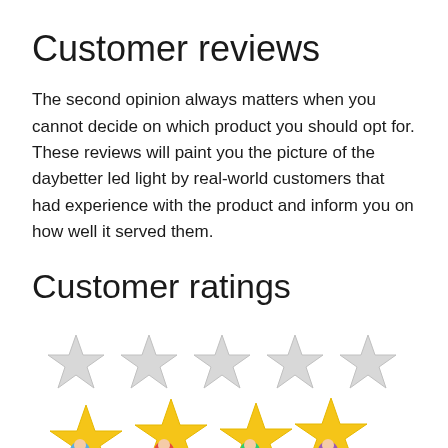Customer reviews
The second opinion always matters when you cannot decide on which product you should opt for. These reviews will paint you the picture of the daybetter led light by real-world customers that had experience with the product and inform you on how well it served them.
Customer ratings
[Figure (illustration): Two rows of star rating icons. Top row: five large light gray outlined stars. Bottom row: four large golden yellow stars partially cut off at bottom, with small colorful cartoon character icons visible beneath some stars.]